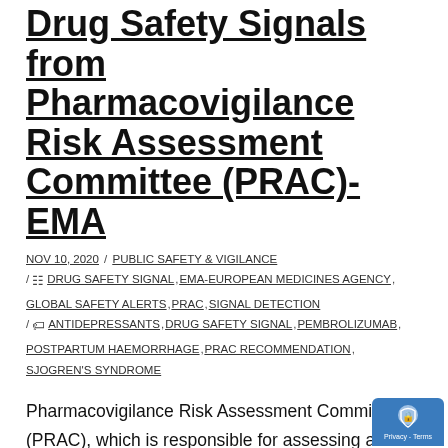Drug Safety Signals from Pharmacovigilance Risk Assessment Committee (PRAC)-EMA
NOV 10, 2020 / PUBLIC SAFETY & VIGILANCE / DRUG SAFETY SIGNAL, EMA-EUROPEAN MEDICINES AGENCY, GLOBAL SAFETY ALERTS, PRAC, SIGNAL DETECTION / ANTIDEPRESSANTS, DRUG SAFETY SIGNAL, PEMBROLIZUMAB, POSTPARTUM HAEMORRHAGE, PRAC RECOMMENDATION, SJOGREN'S SYNDROME
Pharmacovigilance Risk Assessment Committee (PRAC), which is responsible for assessing and monitoring the safety of human medicines from European medicines agency (EMA) has published new significant safety information (signals) for medicines which were identified from the monthly PRAC meeting held during the period of 28 Se...